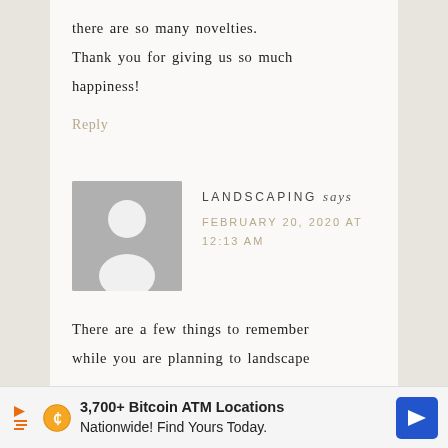there are so many novelties. Thank you for giving us so much happiness!
Reply
[Figure (illustration): Generic user avatar placeholder — grey rectangle with white silhouette of a person (circle head, rounded torso)]
LANDSCAPING says
FEBRUARY 20, 2020 AT 12:13 AM
There are a few things to remember while you are planning to landscape
3,700+ Bitcoin ATM Locations Nationwide! Find Yours Today.